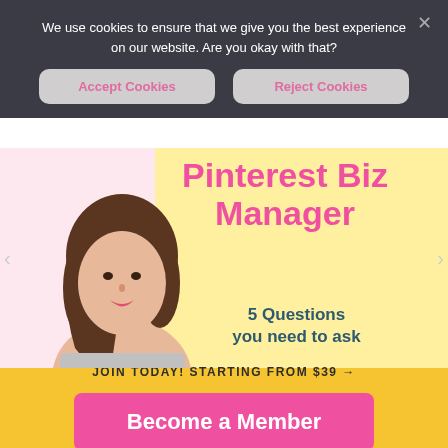We use cookies to ensure that we give you the best experience on our website. Are you okay with that?
Accept Cookies
Reject Cookies
Pinterest Biz Manager
5 Questions you need to ask
[Figure (photo): Young woman with dark hair touching her face, shown from shoulders up, smiling slightly]
JOIN TODAY! STARTING FROM $39 →
Become a Member